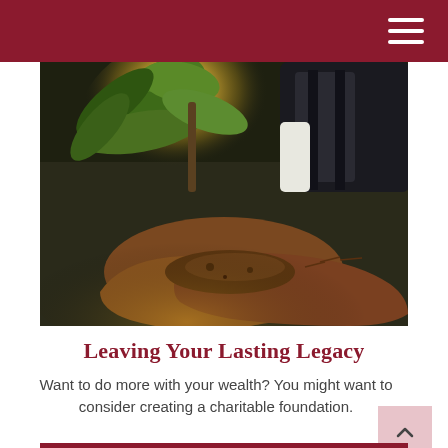[Figure (photo): Close-up photograph of hands holding a small sapling plant with soil, backlit by golden sunlight, with a person's torso visible in the background.]
Leaving Your Lasting Legacy
Want to do more with your wealth? You might want to consider creating a charitable foundation.